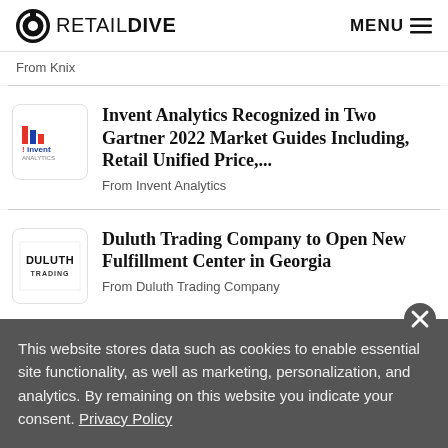RETAIL DIVE | MENU
From Knix
Invent Analytics Recognized in Two Gartner 2022 Market Guides Including, Retail Unified Price,...
From Invent Analytics
Duluth Trading Company to Open New Fulfillment Center in Georgia
From Duluth Trading Company
This website stores data such as cookies to enable essential site functionality, as well as marketing, personalization, and analytics. By remaining on this website you indicate your consent. Privacy Policy